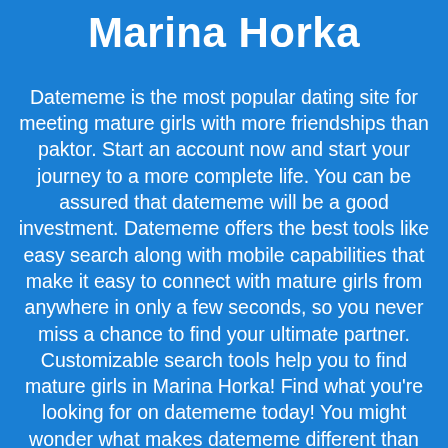Marina Horka
Datememe is the most popular dating site for meeting mature girls with more friendships than paktor. Start an account now and start your journey to a more complete life. You can be assured that datememe will be a good investment. Datememe offers the best tools like easy search along with mobile capabilities that make it easy to connect with mature girls from anywhere in only a few seconds, so you never miss a chance to find your ultimate partner. Customizable search tools help you to find mature girls in Marina Horka! Find what you're looking for on datememe today! You might wonder what makes datememe different than eharmony. We give you the right tools like personality profiling that let you find eligible mature girls. Datememe makes sure your profile is accurate so you can find eligible mature girls.
[Figure (photo): Strip of photos showing people, partially visible at bottom of page]
[Figure (other): Blue bar at bottom with white circle icon]